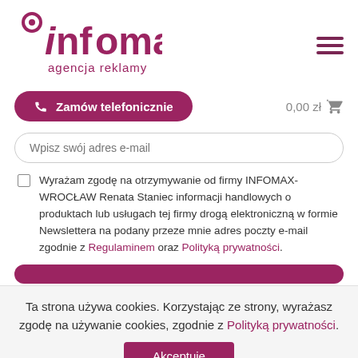[Figure (logo): Infomax agencja reklamy logo in dark pink/magenta with a swirl icon]
[Figure (other): Hamburger menu icon (three horizontal bars) in dark pink]
Zamów telefonicznie
0,00 zł
Wpisz swój adres e-mail
Wyrażam zgodę na otrzymywanie od firmy INFOMAX-WROCŁAW Renata Staniec informacji handlowych o produktach lub usługach tej firmy drogą elektroniczną w formie Newslettera na podany przeze mnie adres poczty e-mail zgodnie z Regulaminem oraz Polityką prywatności.
Ta strona używa cookies. Korzystając ze strony, wyrażasz zgodę na używanie cookies, zgodnie z Polityką prywatności.
Akceptuję